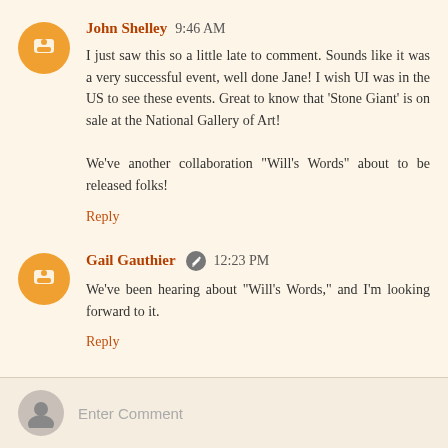John Shelley 9:46 AM
I just saw this so a little late to comment. Sounds like it was a very successful event, well done Jane! I wish UI was in the US to see these events. Great to know that 'Stone Giant' is on sale at the National Gallery of Art!

We've another collaboration "Will's Words" about to be released folks!
Reply
Gail Gauthier 12:23 PM
We've been hearing about "Will's Words," and I'm looking forward to it.
Reply
Enter Comment